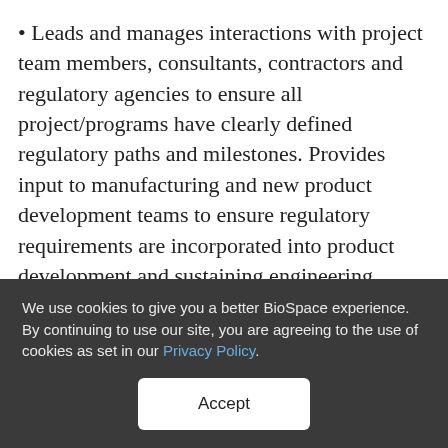• Leads and manages interactions with project team members, consultants, contractors and regulatory agencies to ensure all project/programs have clearly defined regulatory paths and milestones. Provides input to manufacturing and new product development teams to ensure regulatory requirements are incorporated into product development and sustaining engineering projects.
• Works with MaxCyte quality leadership to develop and implement robust GXP- compliant processes and
We use cookies to give you a better BioSpace experience. By continuing to use our site, you are agreeing to the use of cookies as set in our Privacy Policy.